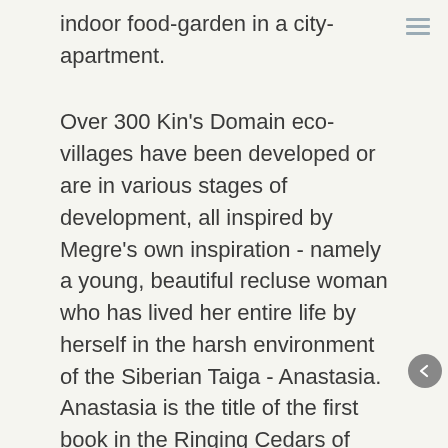indoor food-garden in a city-apartment.
Over 300 Kin's Domain eco-villages have been developed or are in various stages of development, all inspired by Megre's own inspiration - namely a young, beautiful recluse woman who has lived her entire life by herself in the harsh environment of the Siberian Taiga - Anastasia.
Anastasia is the title of the first book in the Ringing Cedars of Russia series and the name under which over eleven million readers discuss her theories affectionately. In twenty-two languages world-wide, the readers of the series learn that Anastasia had initially met up with Megre at the river Ob in Siberia in 1994. She shared her deep wisdom with him for three days, and permanently changed his life. Megre was a